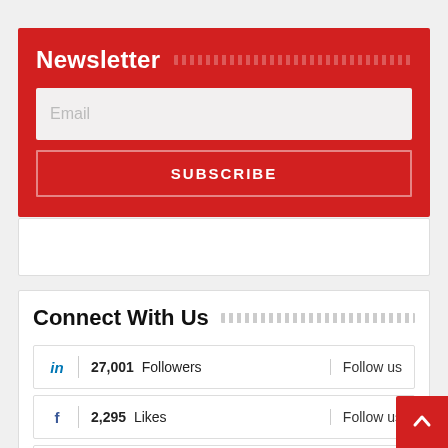Newsletter
Email
SUBSCRIBE
Connect With Us
in | 27,001 Followers | Follow us
f | 2,295 Likes | Follow us
Twitter | 1,051 Followers | Follow Us